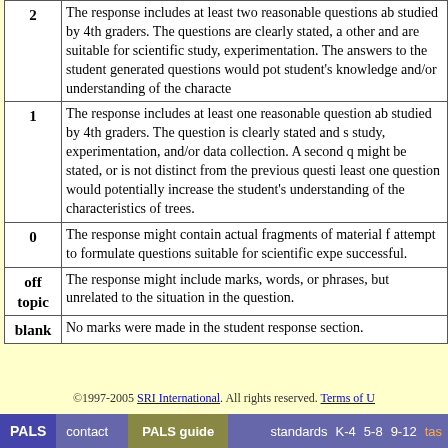| Score | Description |
| --- | --- |
| 2 | The response includes at least two reasonable questions ab... studied by 4th graders. The questions are clearly stated, a... other and are suitable for scientific study, experimentation... The answers to the student generated questions would pot... student's knowledge and/or understanding of the characte... |
| 1 | The response includes at least one reasonable question ab... studied by 4th graders. The question is clearly stated and s... study, experimentation, and/or data collection. A second q... might be stated, or is not distinct from the previous questi... least one question would potentially increase the student's... understanding of the characteristics of trees. |
| 0 | The response might contain actual fragments of material f... attempt to formulate questions suitable for scientific expe... successful. |
| off topic | The response might include marks, words, or phrases, but... unrelated to the situation in the question. |
| blank | No marks were made in the student response section. |
©1997-2005 SRI International. All rights reserved. Terms of U...
PALS   contact   PALS guide   standards   K-4   5-8   9-12   tas...